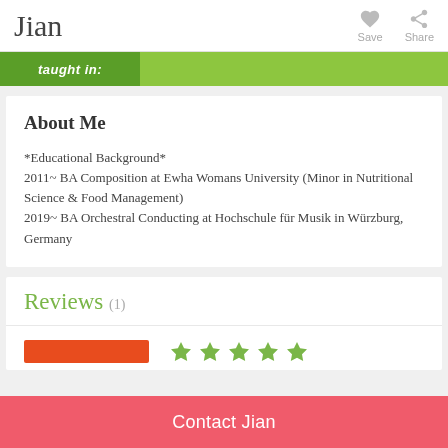Jian
[Figure (screenshot): Green banner with dark green 'taught in:' label on left and lighter green area on right]
About Me
*Educational Background*
2011~ BA Composition at Ewha Womans University (Minor in Nutritional Science & Food Management)
2019~ BA Orchestral Conducting at Hochschule für Musik in Würzburg, Germany
Reviews (1)
[Figure (infographic): Orange/red rating bar and 5 green stars rating display]
Contact Jian